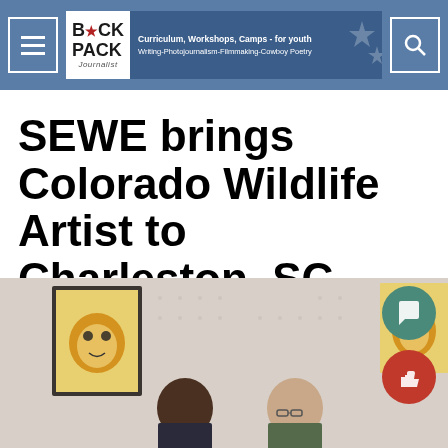Back Pack Journalist — Curriculum, Workshops, Camps - for youth | Writing-Photojournalism-Filmmaking-Cowboy Poetry
SEWE brings Colorado Wildlife Artist to Charleston, SC
[Figure (photo): Two men standing in front of wildlife artwork, including framed paintings of tigers, at an art exhibition]